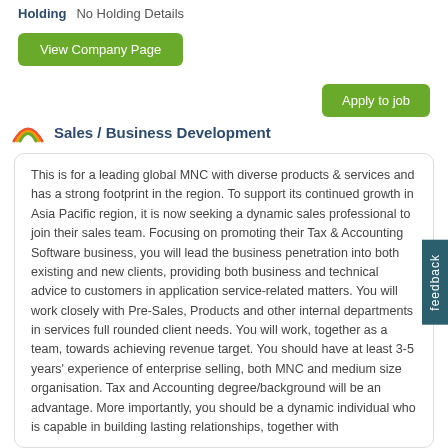Holding    No Holding Details
View Company Page
Apply to job
Sales / Business Development
This is for a leading global MNC with diverse products & services and has a strong footprint in the region. To support its continued growth in Asia Pacific region, it is now seeking a dynamic sales professional to join their sales team. Focusing on promoting their Tax & Accounting Software business, you will lead the business penetration into both existing and new clients, providing both business and technical advice to customers in application service-related matters. You will work closely with Pre-Sales, Products and other internal departments in services full rounded client needs. You will work, together as a team, towards achieving revenue target. You should have at least 3-5 years' experience of enterprise selling, both MNC and medium size organisation. Tax and Accounting degree/background will be an advantage. More importantly, you should be a dynamic individual who is capable in building lasting relationships, together with